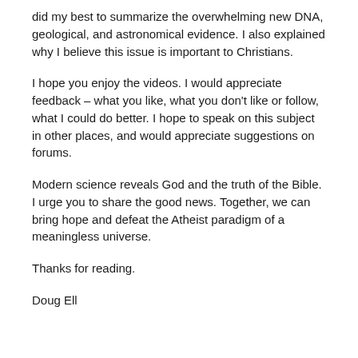did my best to summarize the overwhelming new DNA, geological, and astronomical evidence. I also explained why I believe this issue is important to Christians.
I hope you enjoy the videos. I would appreciate feedback – what you like, what you don't like or follow, what I could do better. I hope to speak on this subject in other places, and would appreciate suggestions on forums.
Modern science reveals God and the truth of the Bible. I urge you to share the good news. Together, we can bring hope and defeat the Atheist paradigm of a meaningless universe.
Thanks for reading.
Doug Ell